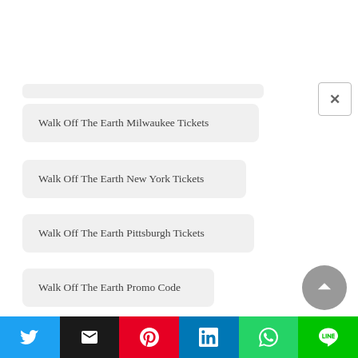Walk Off The Earth Milwaukee Tickets
Walk Off The Earth New York Tickets
Walk Off The Earth Pittsburgh Tickets
Walk Off The Earth Promo Code
Walk Off The Earth Red Rocks Tickets
Walk Off The Earth Saint Paul Tickets